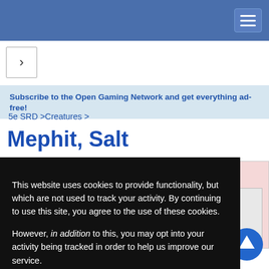Navigation bar with hamburger menu
[Figure (screenshot): Navigation arrow button (>)]
Subscribe to the Open Gaming Network and get everything ad-free!
5e SRD >Creatures >
Mephit, Salt
[Figure (screenshot): Advertisement box partially visible with pink background showing 'CTS FOR' and '.com!']
This website uses cookies to provide functionality, but which are not used to track your activity. By continuing to use this site, you agree to the use of these cookies.

However, in addition to this, you may opt into your activity being tracked in order to help us improve our service.

For more information, please click here
Damage Immunities poison